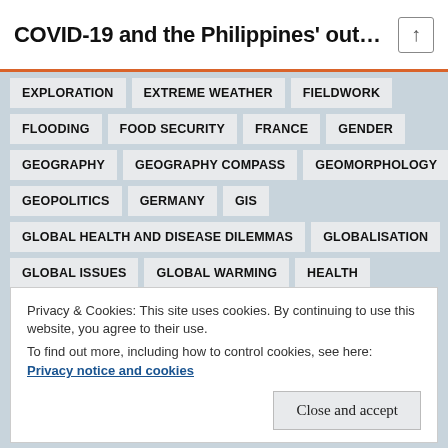COVID-19 and the Philippines' out...
EXPLORATION
EXTREME WEATHER
FIELDWORK
FLOODING
FOOD SECURITY
FRANCE
GENDER
GEOGRAPHY
GEOGRAPHY COMPASS
GEOMORPHOLOGY
GEOPOLITICS
GERMANY
GIS
GLOBAL HEALTH AND DISEASE DILEMMAS
GLOBALISATION
GLOBAL ISSUES
GLOBAL WARMING
HEALTH
HISTORICAL GEOGRAPHY
HOME
HYDROLOGY AND WATER RESOURCES
IDENTITY
Privacy & Cookies: This site uses cookies. By continuing to use this website, you agree to their use.
To find out more, including how to control cookies, see here: Privacy notice and cookies
Close and accept